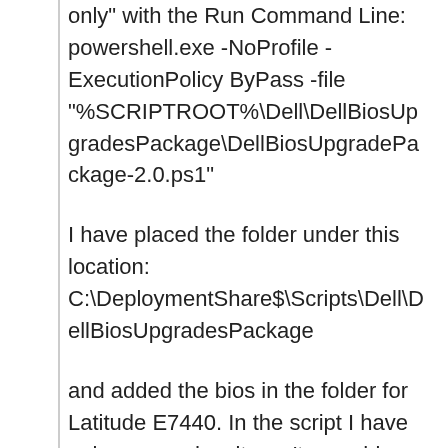only" with the Run Command Line: powershell.exe -NoProfile -ExecutionPolicy ByPass -file "%SCRIPTROOT%\Dell\DellBiosUpgradesPackage\DellBiosUpgradePackage-2.0.ps1"
I have placed the folder under this location: C:\DeploymentShare$\Scripts\Dell\DellBiosUpgradesPackage
and added the bios in the folder for Latitude E7440. In the script I have only removed so it won't searching for a password (I don't have a bios password on that computer), otherwise nothing else has changed)